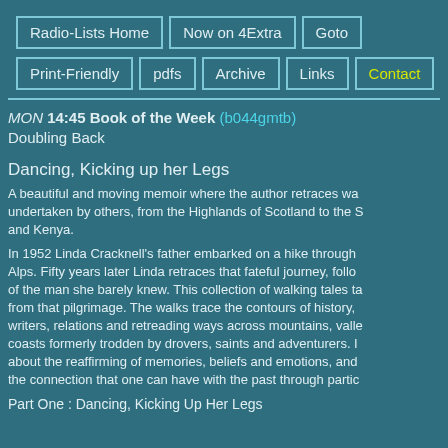Radio-Lists Home | Now on 4Extra | Goto | Print-Friendly | pdfs | Archive | Links | Contact
MON 14:45 Book of the Week (b044gmtb)
Doubling Back
Dancing, Kicking up her Legs
A beautiful and moving memoir where the author retraces walks undertaken by others, from the Highlands of Scotland to the S and Kenya.
In 1952 Linda Cracknell's father embarked on a hike through Alps. Fifty years later Linda retraces that fateful journey, following the footsteps of the man she barely knew. This collection of walking tales takes its inspiration from that pilgrimage. The walks trace the contours of history, following writers, relations and retreading ways across mountains, valleys and coasts formerly trodden by drovers, saints and adventurers. It is about the reaffirming of memories, beliefs and emotions, and about the connection that one can have with the past through partic
Part One : Dancing, Kicking Up Her Legs